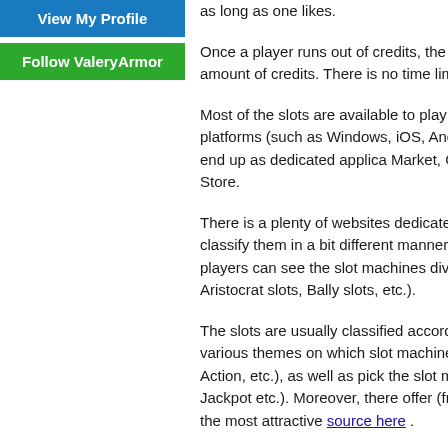View My Profile
Follow ValeryArmor
as long as one likes.
Once a player runs out of credits, the page can be re starting amount of credits. There is no time limit or li
Most of the slots are available to play without any re the popular platforms (such as Windows, iOS, Andro most popular ones also end up as dedicated applica Market, Google Play or Windows Store.
There is a plenty of websites dedicated to free online them classify them in a bit different manner. In additi options, the players can see the slot machines divide (such as IGT slots, Aristocrat slots, Bally slots, etc.).
The slots are usually classified according to the fea among various themes on which slot machines are b Horror, Movie Action, etc.), as well as pick the slot m Spins, Bonus Rounds, Jackpot etc.). Moreover, there offer (from 1 to over 100). One of the most attractive source here .
Another convenience is that free online slot players c Since there are so many slots available, they range f over 100 pay lines, and a various number of reels a games according to the statistics, and there is an ex